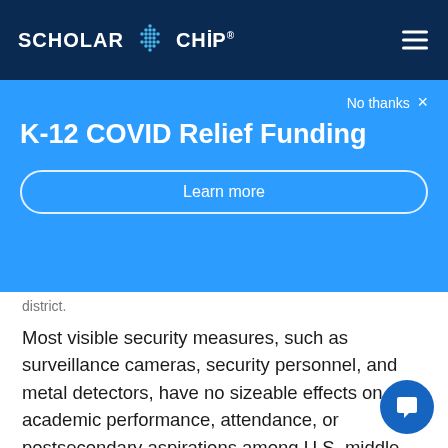SCHOLAR CHIP®
K-12 COVID Relief Funding
No thanks ×
Learn more
district.
Most visible security measures, such as surveillance cameras, security personnel, and metal detectors, have no sizeable effects on academic performance, attendance, or postsecondary aspirations among U.S. middle and high school students, according to data stemming from studies conducted by the School Crime Supplement and the National